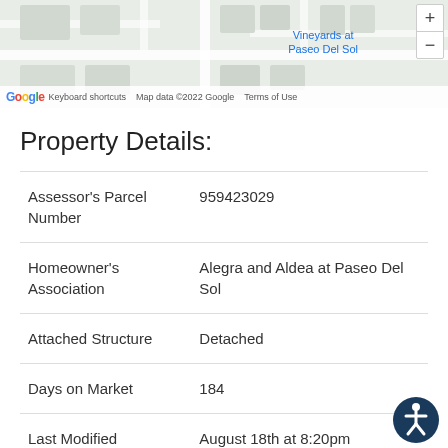[Figure (map): Google Maps screenshot showing street map with 'Vineyards at Paseo Del Sol' label, zoom controls, and Google branding with keyboard shortcuts and map data copyright notice.]
Property Details:
| Field | Value |
| --- | --- |
| Assessor's Parcel Number | 959423029 |
| Homeowner's Association | Alegra and Aldea at Paseo Del Sol |
| Attached Structure | Detached |
| Days on Market | 184 |
| Last Modified | August 18th at 8:20pm |